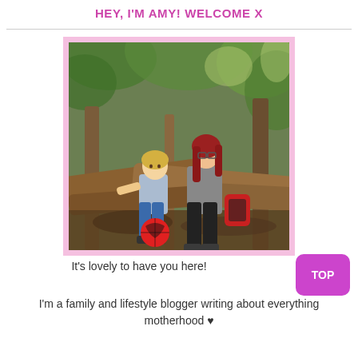HEY, I'M AMY! WELCOME X
[Figure (photo): A woman with red hair and a young blond child sitting on fallen logs in a woodland/forest setting. A red football is on the ground in front of them.]
It's lovely to have you here!
I'm a family and lifestyle blogger writing about everything motherhood ♥